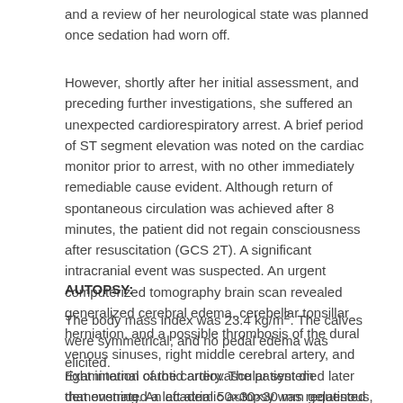and a review of her neurological state was planned once sedation had worn off.
However, shortly after her initial assessment, and preceding further investigations, she suffered an unexpected cardiorespiratory arrest. A brief period of ST segment elevation was noted on the cardiac monitor prior to arrest, with no other immediately remediable cause evident. Although return of spontaneous circulation was achieved after 8 minutes, the patient did not regain consciousness after resuscitation (GCS 2T). A significant intracranial event was suspected. An urgent computerized tomography brain scan revealed generalized cerebral edema, cerebellar tonsillar herniation, and a possible thrombosis of the dural venous sinuses, right middle cerebral artery, and right internal carotid artery. The patient died later that evening. An academic autopsy was requested in light of her acute deterioration and uncertain cause of death.
AUTOPSY:
The body mass index was 23.4 kg/m². The calves were symmetrical, and no pedal edema was elicited.
Examination of the cardiovascular system demonstrated a left atrial 50×30×30 mm gelatinous, pedunculated mass attached within